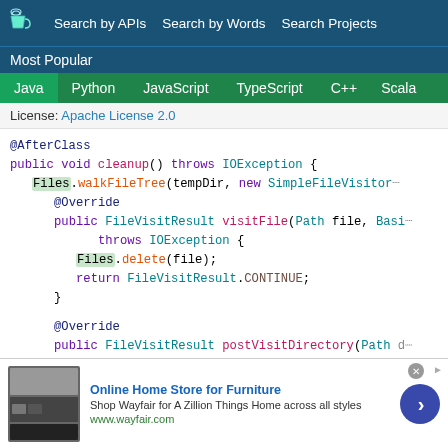Search by APIs  Search by Words  Search Projects
Most Popular
Java  Python  JavaScript  TypeScript  C++  Scala
License: Apache License 2.0
@AfterClass
public void cleanup() throws IOException {
    Files.walkFileTree(tempDir, new SimpleFileVisitor
    @Override
    public FileVisitResult visitFile(Path file, Basi
        throws IOException {
        Files.delete(file);
        return FileVisitResult.CONTINUE;
    }

    @Override
    public FileVisitResult postVisitDirectory(Path d
[Figure (screenshot): Wayfair advertisement banner showing furniture products. Title: Online Home Store for Furniture. Subtitle: Shop Wayfair for A Zillion Things Home across all styles. URL: www.wayfair.com]